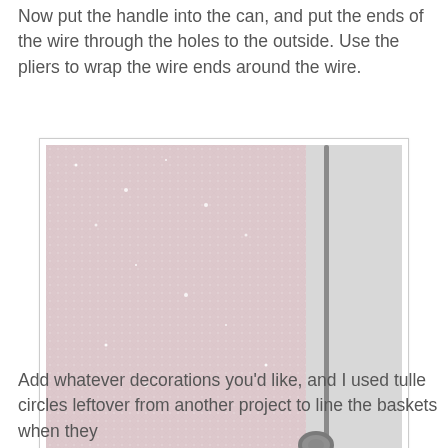Now put the handle into the can, and put the ends of the wire through the holes to the outside. Use the pliers to wrap the wire ends around the wire.
[Figure (photo): Close-up photo of a decorated can with a wire handle. The can is lined with glittery pink/white tulle mesh material. A metal wire handle is visible on the right side with a twisted wire knot securing it. The bottom of the can shows blue fabric with pink floral (cherry blossom) decorations.]
Add whatever decorations you'd like, and I used tulle circles leftover from another project to line the baskets when they